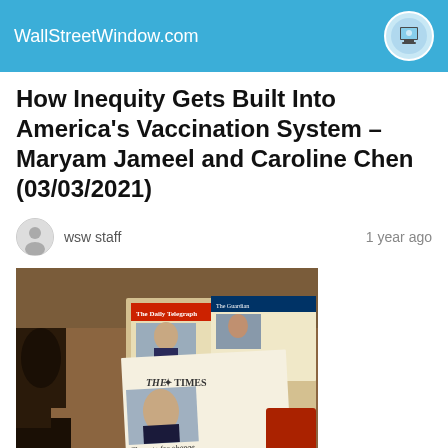WallStreetWindow.com
How Inequity Gets Built Into America's Vaccination System – Maryam Jameel and Caroline Chen (03/03/2021)
wsw staff   1 year ago
[Figure (photo): Photo of newspapers including The Daily Telegraph and The Times spread on a desk, with the headline 'The vote for change' visible on The Times front page.]